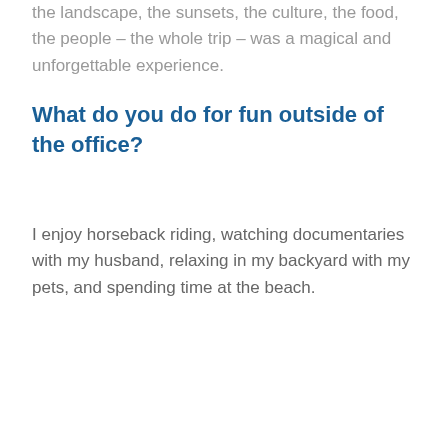the landscape, the sunsets, the culture, the food, the people – the whole trip – was a magical and unforgettable experience.
What do you do for fun outside of the office?
I enjoy horseback riding, watching documentaries with my husband, relaxing in my backyard with my pets, and spending time at the beach.